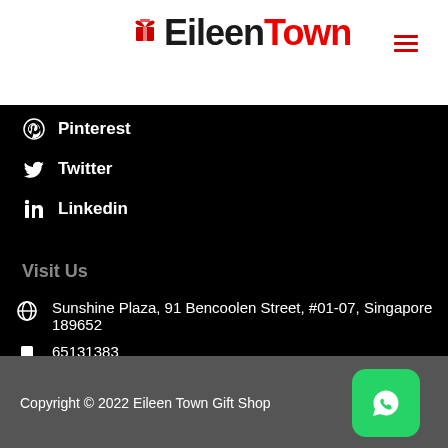[Figure (logo): EileenTown logo with red gift bow icon and hamburger menu icon]
Pinterest
Twitter
Linkedin
Visit Us
Sunshine Plaza, 91 Bencoolen Street, #01-07, Singapore 189652
65131383
96679796 (WhatsApp)
gift@eileentown.com
Copyright © 2022 Eileen Town Gift Shop